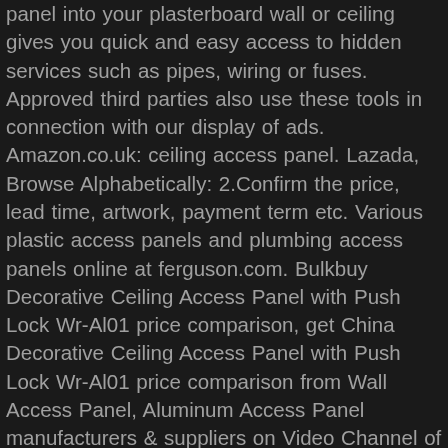panel into your plasterboard wall or ceiling gives you quick and easy access to hidden services such as pipes, wiring or fuses. Approved third parties also use these tools in connection with our display of ads. Amazon.co.uk: ceiling access panel. Lazada, Browse Alphabetically: 2.Confirm the price, lead time, artwork, payment term etc. Various plastic access panels and plumbing access panels online at ferguson.com. Bulkbuy Decorative Ceiling Access Panel with Push Lock Wr-Al01 price comparison, get China Decorative Ceiling Access Panel with Push Lock Wr-Al01 price comparison from Wall Access Panel, Aluminum Access Panel manufacturers & suppliers on Video Channel of Made-in-China.com . | Quality We have professional inspection team, which can ensure the quality of the products. We always pay great attention to the application of new technologies and new designs. Part #: FAP0808. Flush Access Doors and Panels. | Suppliers Decorative Wall Access Panel AP7020 picture from Wuhu Aihua Industrial Manufacturing Co., Ltd. view photo of Access Door,